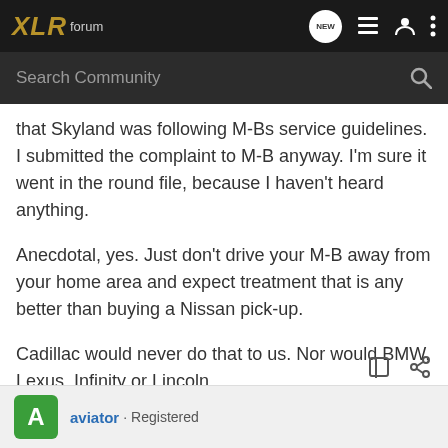XLR forum
that Skyland was following M-Bs service guidelines. I submitted the complaint to M-B anyway. I'm sure it went in the round file, because I haven't heard anything.
Anecdotal, yes. Just don't drive your M-B away from your home area and expect treatment that is any better than buying a Nissan pick-up.
Cadillac would never do that to us. Nor would BMW, Lexus, Infinity or Lincoln.
aviator · Registered